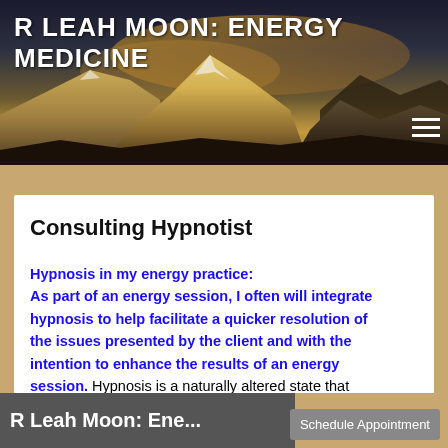R LEAH MOON: ENERGY MEDICINE
[Figure (illustration): Mountain landscape banner with dramatic sky, golden and brown tones, snow-capped peaks]
Consulting Hypnotist
Hypnosis in my energy practice: As part of an energy session, I often will integrate hypnosis to help facilitate a quicker resolution of the issues presented by the client and with the intention to enhance the results of an energy session. Hypnosis is a naturally altered state that
R Leah Moon: Ene...   Schedule Appointment